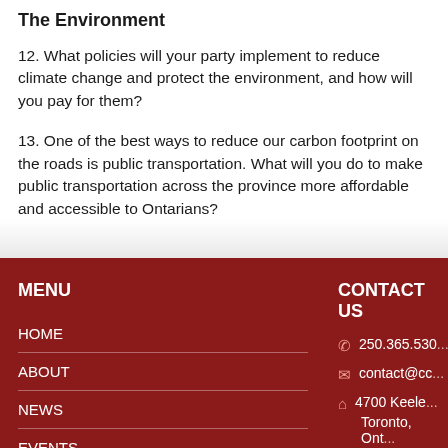The Environment
12. What policies will your party implement to reduce climate change and protect the environment, and how will you pay for them?
13. One of the best ways to reduce our carbon footprint on transportation. What will you do to make public transportation across the province more affordable and accessible to Ontarians?
MENU | HOME | ABOUT | NEWS | EVENTS | CONTACT US | 250.365.530... | contact@cc... | 4700 Keele... Toronto, Ont...